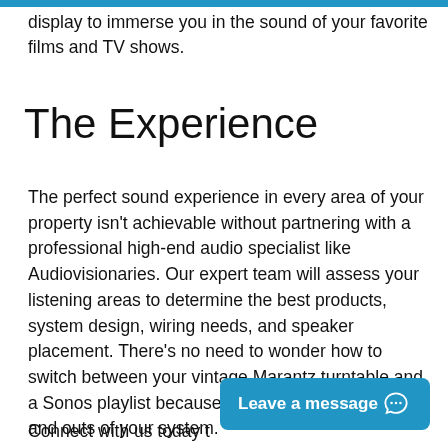display to immerse you in the sound of your favorite films and TV shows.
The Experience
The perfect sound experience in every area of your property isn't achievable without partnering with a professional high-end audio specialist like Audiovisionaries. Our expert team will assess your listening areas to determine the best products, system design, wiring needs, and speaker placement. There's no need to wonder how to switch between your vintage Marantz turntable and a Sonos playlist because we'll teach you the ins and outs of your system.
Connect with us today t…